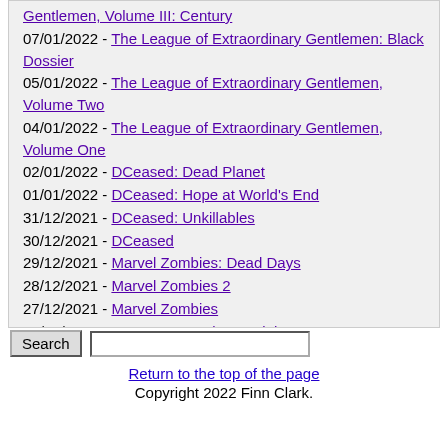Gentlemen, Volume III: Century
07/01/2022 - The League of Extraordinary Gentlemen: Black Dossier
05/01/2022 - The League of Extraordinary Gentlemen, Volume Two
04/01/2022 - The League of Extraordinary Gentlemen, Volume One
02/01/2022 - DCeased: Dead Planet
01/01/2022 - DCeased: Hope at World's End
31/12/2021 - DCeased: Unkillables
30/12/2021 - DCeased
29/12/2021 - Marvel Zombies: Dead Days
28/12/2021 - Marvel Zombies 2
27/12/2021 - Marvel Zombies
26/12/2021 - Batman: In Darkest Knight
Return to the top of the page
Copyright 2022 Finn Clark.